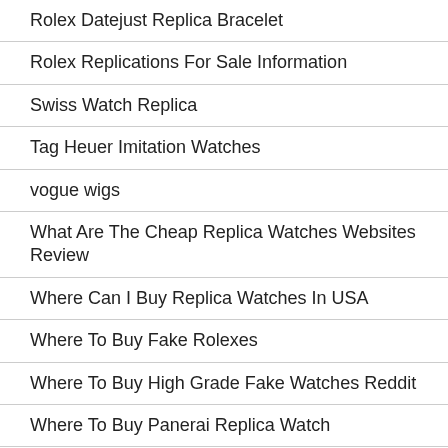Rolex Datejust Replica Bracelet
Rolex Replications For Sale Information
Swiss Watch Replica
Tag Heuer Imitation Watches
vogue wigs
What Are The Cheap Replica Watches Websites Review
Where Can I Buy Replica Watches In USA
Where To Buy Fake Rolexes
Where To Buy High Grade Fake Watches Reddit
Where To Buy Panerai Replica Watch
Who Makes The Best Panerai Replica